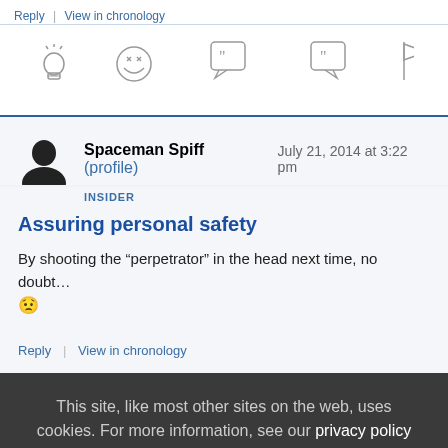Reply | View in chronology
[Figure (infographic): Row of five icon buttons: lightbulb, laughing face, open-quote speech bubble, close-quote speech bubble, flag]
Spaceman Spiff (profile) July 21, 2014 at 3:22 pm
INSIDER
Assuring personal safety
By shooting the “perpetrator” in the head next time, no doubt… 😟
Reply | View in chronology
This site, like most other sites on the web, uses cookies. For more information, see our privacy policy GOT IT